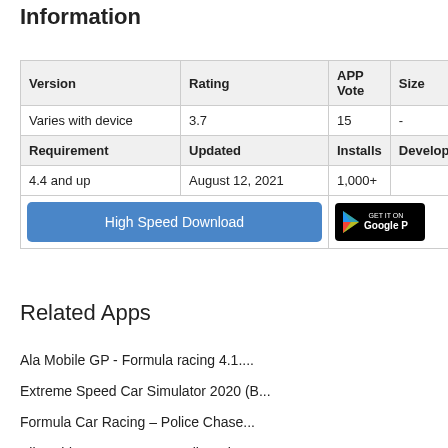Information
| Version | Rating | APP Vote | Size |
| --- | --- | --- | --- |
| Varies with device | 3.7 | 15 | - |
| Requirement | Updated | Installs | Developer |
| 4.4 and up | August 12, 2021 | 1,000+ |  |
| High Speed Download | [Google Play button] |  |  |
Related Apps
Ala Mobile GP - Formula racing 4.1....
Extreme Speed Car Simulator 2020 (B...
Formula Car Racing – Police Chase...
Bike Rider VS Cop Car - Police Chas...